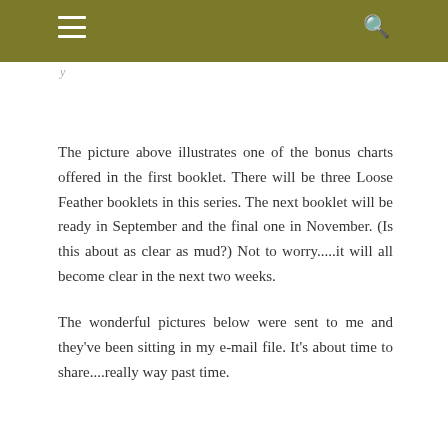The picture above illustrates one of the bonus charts offered in the first booklet. There will be three Loose Feather booklets in this series. The next booklet will be ready in September and the final one in November. (Is this about as clear as mud?) Not to worry.....it will all become clear in the next two weeks.
The wonderful pictures below were sent to me and they've been sitting in my e-mail file. It's about time to share....really way past time.